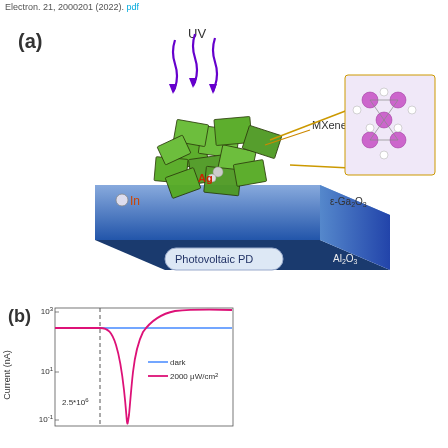Electron. 21, 2000201 (2022). pdf
[Figure (illustration): Panel (a): Schematic illustration of a photovoltaic photodetector device. UV light arrows point downward onto a device stack consisting of ε-Ga2O3 on Al2O3 substrate, with MXene flakes and Ag nanoparticles on top. In contact on the left. Zoom-in inset shows MXene crystal structure (purple/white atoms). Label 'Photovoltaic PD' on the substrate body.]
[Figure (continuous-plot): Panel (b): Log-scale I-V curve plot showing Current (nA) on y-axis (10^-1 to 10^3). Two curves shown: blue (dark) and pink/magenta (2000 μW/cm²). The magenta curve shows a pronounced dip (photovoltaic response) near 0 V. Text annotation '2.5*10^6' near dashed vertical line. Legend shows dark and 2000 μW/cm² labels.]